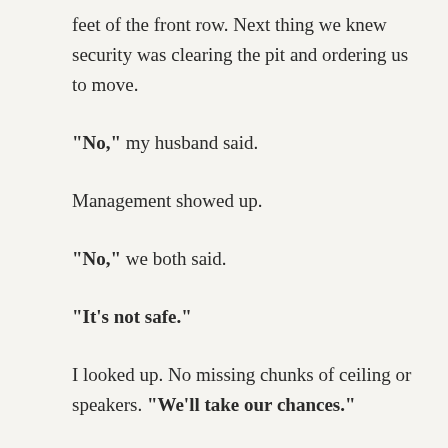feet of the front row. Next thing we knew security was clearing the pit and ordering us to move.
“No,” my husband said.
Management showed up.
“No,” we both said.
“It’s not safe.”
I looked up. No missing chunks of ceiling or speakers. “We’ll take our chances.”
“You can’t stay in the audi—”